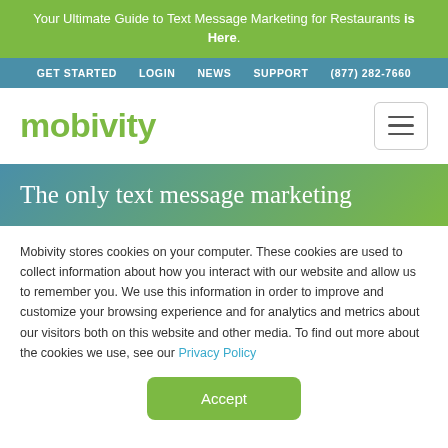Your Ultimate Guide to Text Message Marketing for Restaurants is Here.
GET STARTED  LOGIN  NEWS  SUPPORT  (877) 282-7660
[Figure (logo): Mobivity logo in green text with hamburger menu icon]
The only text message marketing
Mobivity stores cookies on your computer. These cookies are used to collect information about how you interact with our website and allow us to remember you. We use this information in order to improve and customize your browsing experience and for analytics and metrics about our visitors both on this website and other media. To find out more about the cookies we use, see our Privacy Policy
Accept